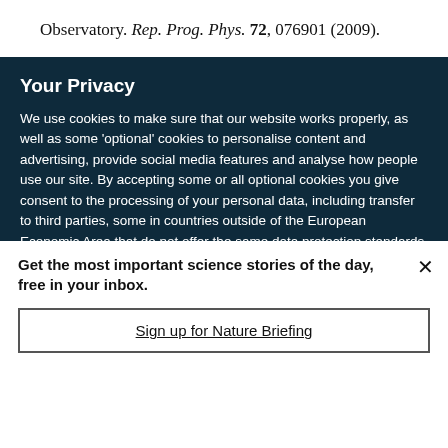Observatory. Rep. Prog. Phys. 72, 076901 (2009).
Your Privacy
We use cookies to make sure that our website works properly, as well as some 'optional' cookies to personalise content and advertising, provide social media features and analyse how people use our site. By accepting some or all optional cookies you give consent to the processing of your personal data, including transfer to third parties, some in countries outside of the European Economic Area that do not offer the same data protection standards as the country where you live. You can decide which optional cookies to accept by clicking on 'Manage Settings', where you can
Get the most important science stories of the day, free in your inbox.
Sign up for Nature Briefing